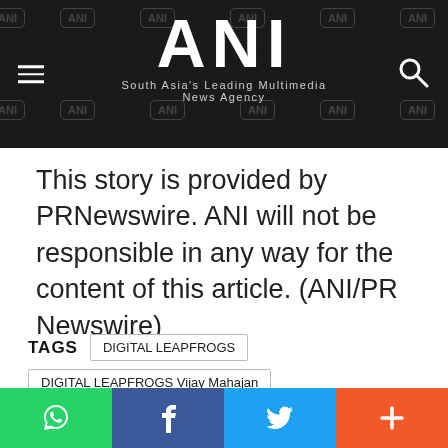ANI - South Asia's Leading Multimedia News Agency
This story is provided by PRNewswire. ANI will not be responsible in any way for the content of this article. (ANI/PR Newswire)
TAGS  DIGITAL LEAPFROGS  DIGITAL LEAPFROGS Vijay Mahajan  Vijay Mahajan  Sachin Sharma